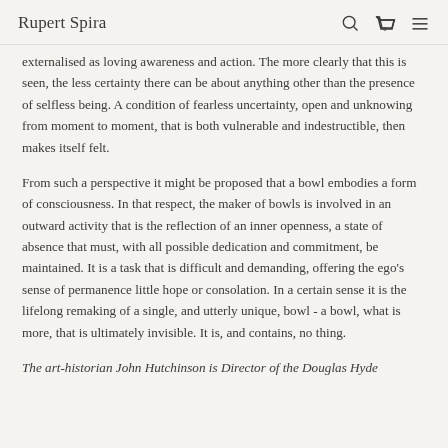Rupert Spira
externalised as loving awareness and action. The more clearly that this is seen, the less certainty there can be about anything other than the presence of selfless being. A condition of fearless uncertainty, open and unknowing from moment to moment, that is both vulnerable and indestructible, then makes itself felt.
From such a perspective it might be proposed that a bowl embodies a form of consciousness. In that respect, the maker of bowls is involved in an outward activity that is the reflection of an inner openness, a state of absence that must, with all possible dedication and commitment, be maintained. It is a task that is difficult and demanding, offering the ego's sense of permanence little hope or consolation. In a certain sense it is the lifelong remaking of a single, and utterly unique, bowl - a bowl, what is more, that is ultimately invisible. It is, and contains, no thing.
The art-historian John Hutchinson is Director of the Douglas Hyde